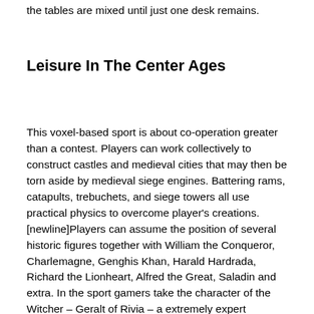the tables are mixed until just one desk remains.
Leisure In The Center Ages
This voxel-based sport is about co-operation greater than a contest. Players can work collectively to construct castles and medieval cities that may then be torn aside by medieval siege engines. Battering rams, catapults, trebuchets, and siege towers all use practical physics to overcome player's creations. [newline]Players can assume the position of several historic figures together with William the Conqueror, Charlemagne, Genghis Khan, Harald Hardrada, Richard the Lionheart, Alfred the Great, Saladin and extra. In the sport gamers take the character of the Witcher – Geralt of Rivia – a extremely expert monster slayer. The major task of the monster slayer is to trace the Child of Prophecy, and keep her from being utilized by the Wild Hunt, an evil force, to destroy the world. In the story line adopted by the sport, the dragon is known as Alduin the World-Eater, whereas participant